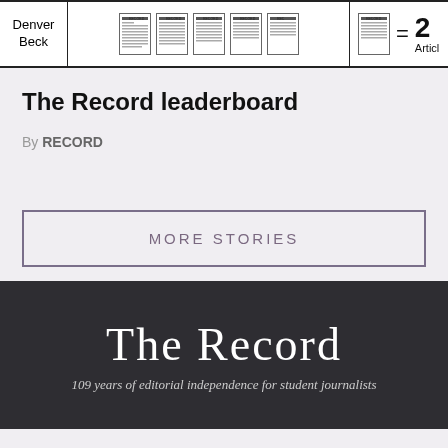[Figure (table-as-image): Partial table row showing Denver Beck with 5 newspaper article icons and an equals sign with '2 Articles' on the right]
The Record leaderboard
By RECORD
MORE STORIES
The Record
109 years of editorial independence for student journalists